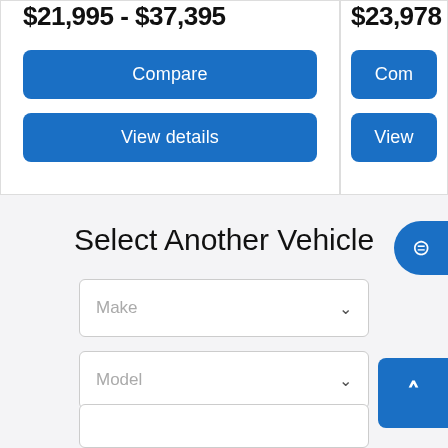$21,995 - $37,395
Compare
View details
$23,978
Com
View
Select Another Vehicle
Make
Model